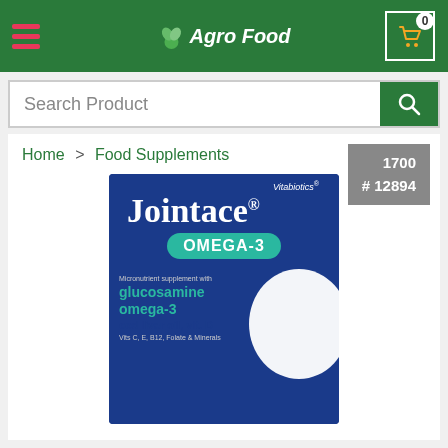Agro Food — navigation header with hamburger menu, logo, and cart (0 items)
Search Product
Home > Food Supplements
1700
# 12894
[Figure (photo): Vitabiotics Jointace Omega-3 product box. Blue and teal packaging showing text: Vitabiotics, Jointace, OMEGA-3, Micronutrient supplement with glucosamine, omega-3, cod liver oil, vit. D, Vits C, E, B12, Folate & Minerals]